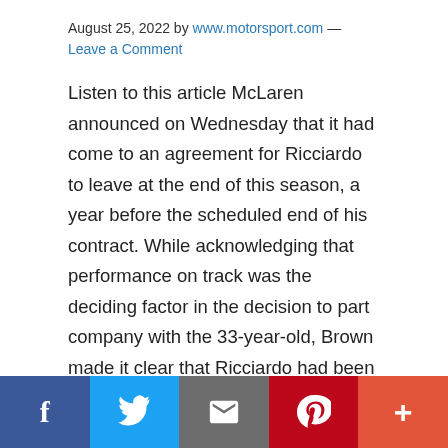August 25, 2022 by www.motorsport.com — Leave a Comment
Listen to this article McLaren announced on Wednesday that it had come to an agreement for Ricciardo to leave at the end of this season, a year before the scheduled end of his contract. While acknowledging that performance on track was the deciding factor in the decision to part company with the 33-year-old, Brown made it clear that Ricciardo had been a "positive influence" in several ways. "I think there's a lot we're going to miss about Daniel," he said. "I think he's brought a lot to the table. "Let's start with Lando. Ultimately you
Social share bar: Facebook, Twitter, Email, Pinterest, More